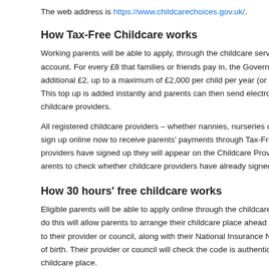The web address is https://www.childcarechoices.gov.uk/.
How Tax-Free Childcare works
Working parents will be able to apply, through the childcare service, to open an online account. For every £8 that families or friends pay in, the Government will make an additional £2, up to a maximum of £2,000 per child per year (or £4,000 for disabled children). This top up is added instantly and parents can then send electronic payments directly to their childcare providers.
All registered childcare providers – whether nannies, nurseries or after school clubs – can sign up online now to receive parents' payments through Tax-Free Childcare. Once childcare providers have signed up they will appear on the Childcare Provider Checker. This allows parents to check whether childcare providers have already signed up for Tax-Free Childcare.
How 30 hours' free childcare works
Eligible parents will be able to apply online through the childcare service. They will be able to do this will allow parents to arrange their childcare place ahead of September 2017. Parents will show their code to their provider or council, along with their National Insurance Number and their child's date of birth. Their provider or council will check the code is authentic and allocate them a childcare place.
Parents can notify the amount that the code should be claimed against the September